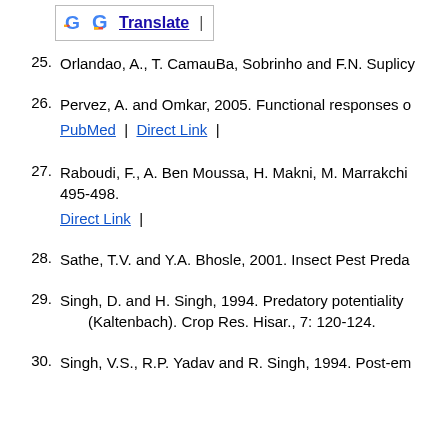[Figure (logo): Google Translate button with G logo and Translate link]
25. Orlandao, A., T. CamauBa, Sobrinho and F.N. Suplicy
26. Pervez, A. and Omkar, 2005. Functional responses o
PubMed | Direct Link |
27. Raboudi, F., A. Ben Moussa, H. Makni, M. Marrakchi 495-498.
Direct Link |
28. Sathe, T.V. and Y.A. Bhosle, 2001. Insect Pest Preda
29. Singh, D. and H. Singh, 1994. Predatory potentiality (Kaltenbach). Crop Res. Hisar., 7: 120-124.
30. Singh, V.S., R.P. Yadav and R. Singh, 1994. Post-em